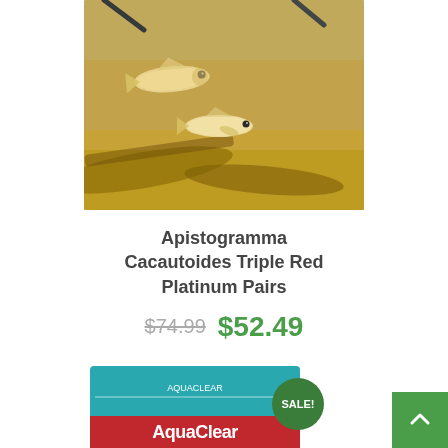[Figure (photo): Two pale yellowish fish (Apistogramma Cacautoides Triple Red Platinum) swimming in an aquarium with sandy substrate and leaves/wood, with aquarium tubes visible at the top.]
Apistogramma Cacautoides Triple Red Platinum Pairs
$74.99  $52.49
[Figure (photo): Partial view of an AquaClear product box at the bottom of the page, with a green circular SALE! badge overlaid on it.]